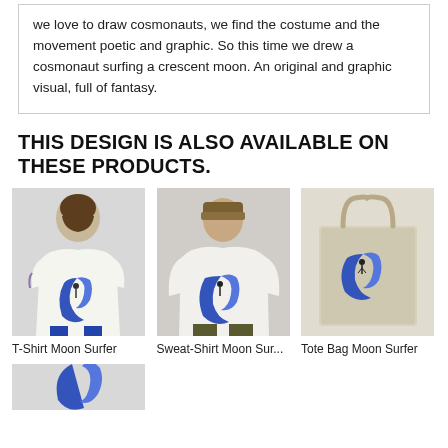we love to draw cosmonauts, we find the costume and the movement poetic and graphic. So this time we drew a cosmonaut surfing a crescent moon. An original and graphic visual, full of fantasy.
THIS DESIGN IS ALSO AVAILABLE ON THESE PRODUCTS.
[Figure (photo): Man wearing a white t-shirt with a blue crescent moon and cosmonaut/surfer graphic]
T-Shirt Moon Surfer
[Figure (photo): Man wearing a white sweatshirt with a blue crescent moon and cosmonaut/surfer graphic, wearing a brown beanie]
Sweat-Shirt Moon Sur...
[Figure (photo): Beige/natural canvas tote bag with a blue crescent moon and cosmonaut/surfer graphic]
Tote Bag Moon Surfer
[Figure (photo): Partial view of another product with blue crescent moon graphic, cut off at bottom of page]